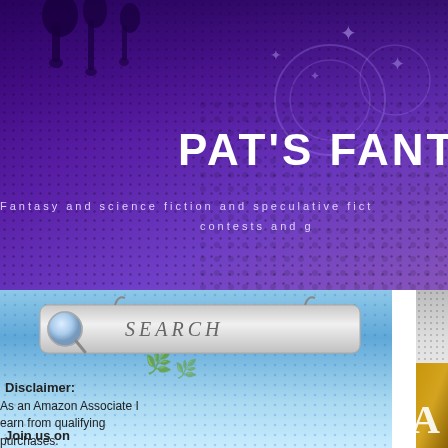[Figure (screenshot): Website header banner with purple gradient background, ink drip decorations, halftone dot patterns, and floral/star motifs]
PAT'S FANT
Fantasy and science fiction and speculative fict... contests and g...
[Figure (screenshot): Search bar with magnifying glass icon on blue/teal gradient sidebar background with halftone dots]
Disclaimer:
As an Amazon Associate I earn from qualifying purchases.
[Figure (screenshot): Gray speckled transition band forming decorative header for article panel on right side]
The Alloy of Law
Publié par Patrick on Monday, October 31, 2011 / Comments: ( 28 )
[Figure (photo): Book cover for The Alloy of Law showing golden/brown tones with the letters 'Allo' visible in white serif font]
Join us on